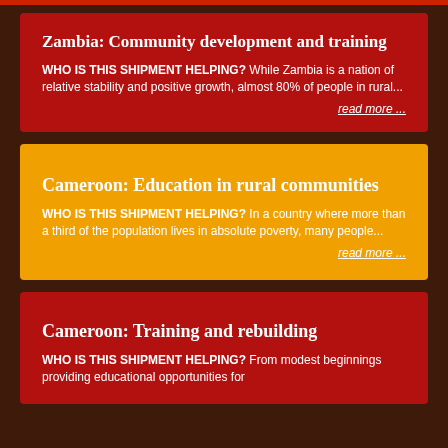Zambia: Community development and training
WHO IS THIS SHIPMENT HELPING? While Zambia is a nation of relative stability and positive growth, almost 80% of people in rural...
read more ...
Cameroon: Education in rural communities
WHO IS THIS SHIPMENT HELPING? In a country where more than a third of the population lives in absolute poverty, many people...
read more ...
Cameroon: Training and rebuilding
WHO IS THIS SHIPMENT HELPING? From modest beginnings providing educational opportunities for